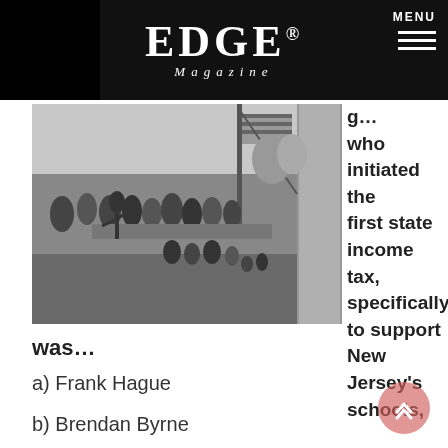EDGE Magazine — MENU
[Figure (photo): Black and white historical photograph showing a crowd of people gathered outdoors with a flag and a large pillar/column visible, appears to be a ceremony or public event.]
g… who initiated the first state income tax, specifically to support New Jersey's schools,
was…
a) Frank Hague
b) Brendan Byrne